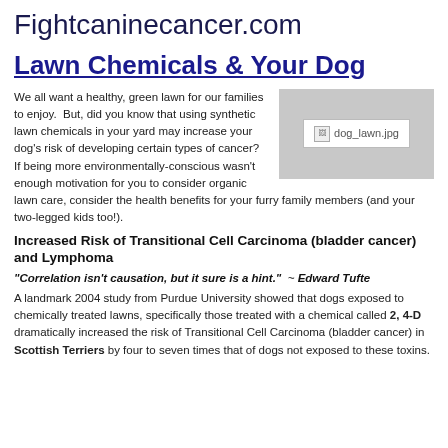Fightcaninecancer.com
Lawn Chemicals & Your Dog
We all want a healthy, green lawn for our families to enjoy.  But, did you know that using synthetic lawn chemicals in your yard may increase your dog's risk of developing certain types of cancer?  If being more environmentally-conscious wasn't enough motivation for you to consider organic lawn care, consider the health benefits for your furry family members (and your two-legged kids too!).
[Figure (photo): Image placeholder showing dog_lawn.jpg]
Increased Risk of Transitional Cell Carcinoma (bladder cancer) and Lymphoma
"Correlation isn't causation, but it sure is a hint."  ~ Edward Tufte
A landmark 2004 study from Purdue University showed that dogs exposed to chemically treated lawns, specifically those treated with a chemical called 2, 4-D dramatically increased the risk of Transitional Cell Carcinoma (bladder cancer) in Scottish Terriers by four to seven times that of dogs not exposed to these toxins.